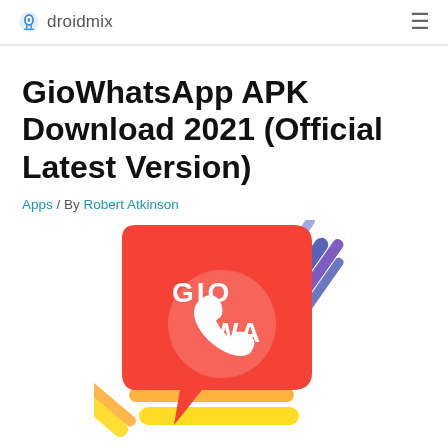droidmix
GioWhatsApp APK Download 2021 (Official Latest Version)
Apps / By Robert Atkinson
[Figure (illustration): GioWhatsApp logo: red speech bubble with white WhatsApp phone icon, text 'GIO WA' in white, surrounded by colorful diagonal stripes of blue, purple, yellow, and orange.]